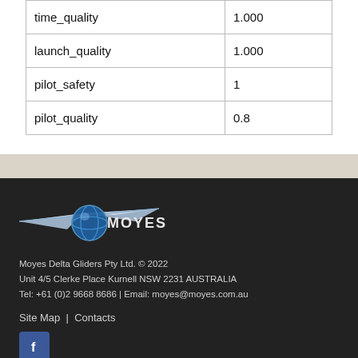| time_quality | 1.000 |
| launch_quality | 1.000 |
| pilot_safety | 1 |
| pilot_quality | 0.8 |
[Figure (logo): Moyes hang glider logo — stylized bird/glider silhouette with blue globe and MOYES text in white]
Moyes Delta Gliders Pty Ltd. © 2022
Unit 4/5 Clerke Place Kurnell NSW 2231 AUSTRALIA
Tel: +61 (0)2 9668 8686 | Email: moyes@moyes.com.au
Site Map  |  Contacts
[Figure (logo): Facebook icon — white F on blue square background]